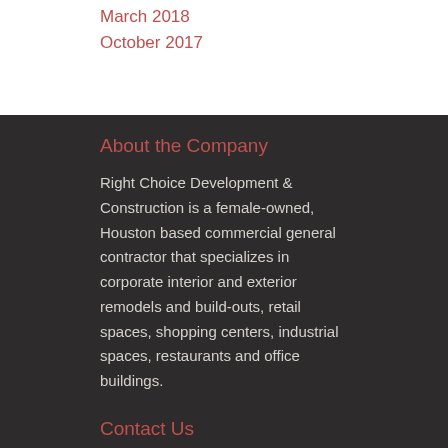March 2018
October 2017
About the Company
Right Choice Development & Construction is a female-owned, Houston based commercial general contractor that specializes in corporate interior and exterior remodels and build-outs, retail spaces, shopping centers, industrial spaces, restaurants and office buildings.
Contact Us
We are conveniently located just west of Houston, Texas.